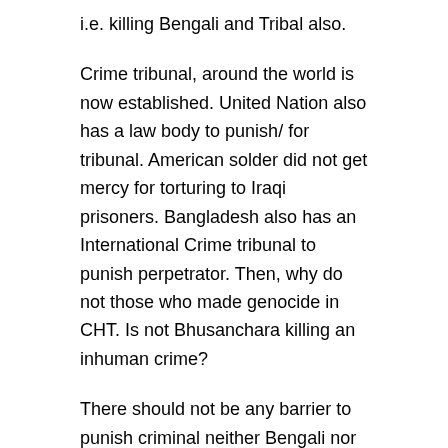i.e. killing Bengali and Tribal also.
Crime tribunal, around the world is now established. United Nation also has a law body to punish/ for tribunal. American solder did not get mercy for torturing to Iraqi prisoners. Bangladesh also has an International Crime tribunal to punish perpetrator. Then, why do not those who made genocide in CHT. Is not Bhusanchara killing an inhuman crime?
There should not be any barrier to punish criminal neither Bengali nor Tribal. And finally there is no option to forgive these killers if government devotedly wants peace in CHT. Criminal must have to be punished for their crime. If government considers these crimes, outlaws will take it as government weakness and they